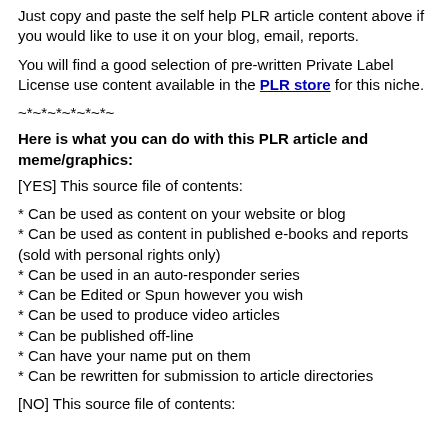Just copy and paste the self help PLR article content above if you would like to use it on your blog, email, reports.
You will find a good selection of pre-written Private Label License use content available in the PLR store for this niche.
~*~*~*~*~*~*~
Here is what you can do with this PLR article and meme/graphics:
[YES] This source file of contents:
* Can be used as content on your website or blog
* Can be used as content in published e-books and reports (sold with personal rights only)
* Can be used in an auto-responder series
* Can be Edited or Spun however you wish
* Can be used to produce video articles
* Can be published off-line
* Can have your name put on them
* Can be rewritten for submission to article directories
[NO] This source file of contents: